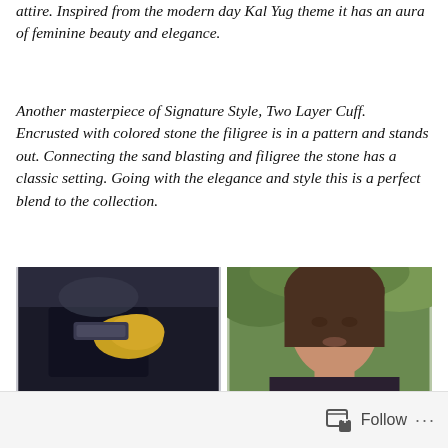attire. Inspired from the modern day Kal Yug theme it has an aura of feminine beauty and elegance.
Another masterpiece of Signature Style, Two Layer Cuff. Encrusted with colored stone the filigree is in a pattern and stands out. Connecting the sand blasting and filigree the stone has a classic setting. Going with the elegance and style this is a perfect blend to the collection.
[Figure (photo): Close-up photo of a hand wearing a dark cuff bracelet with yellow/gold accents, against a dark background]
[Figure (photo): Portrait photo of a woman with brown hair, outdoors with green foliage background]
Follow ···